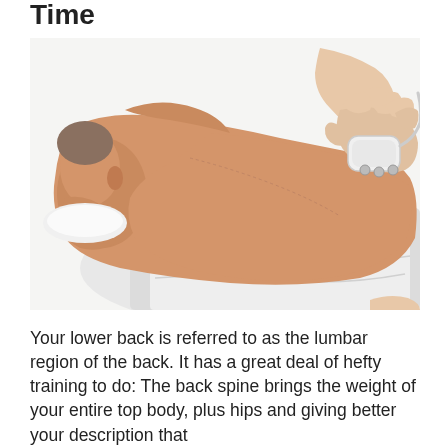Time
[Figure (photo): A person lying face down on a treatment table with their back exposed. A healthcare practitioner's hand holds a medical device (appears to be an ultrasound or massage therapy tool) against the person's lower back area. The patient is partially covered with a white cloth.]
Your lower back is referred to as the lumbar region of the back. It has a great deal of hefty training to do: The back spine brings the weight of your entire top body, plus hips and giving better your description that